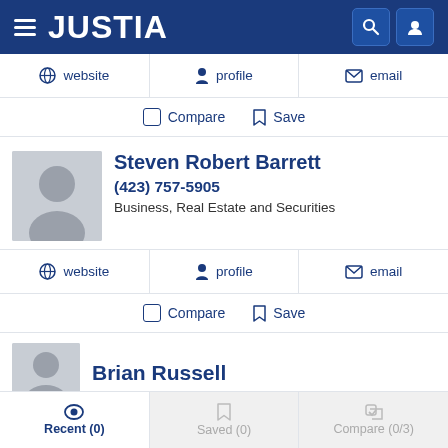JUSTIA
website | profile | email
Compare | Save
Steven Robert Barrett
(423) 757-5905
Business, Real Estate and Securities
website | profile | email
Compare | Save
Brian Russell
Recent (0) | Saved (0) | Compare (0/3)